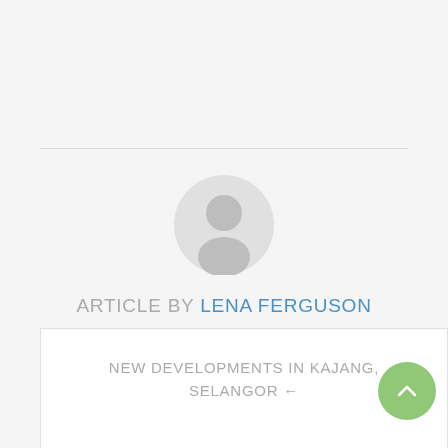[Figure (illustration): Gray circular avatar placeholder with silhouette of a person (head and shoulders)]
ARTICLE BY LENA FERGUSON
AUTHOR ARCHIVE
NEW DEVELOPMENTS IN KAJANG, SELANGOR ←